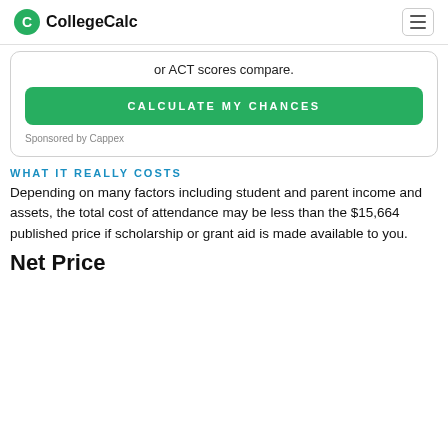CollegeCalc
or ACT scores compare.
CALCULATE MY CHANCES
Sponsored by Cappex
WHAT IT REALLY COSTS
Depending on many factors including student and parent income and assets, the total cost of attendance may be less than the $15,664 published price if scholarship or grant aid is made available to you.
Net Price